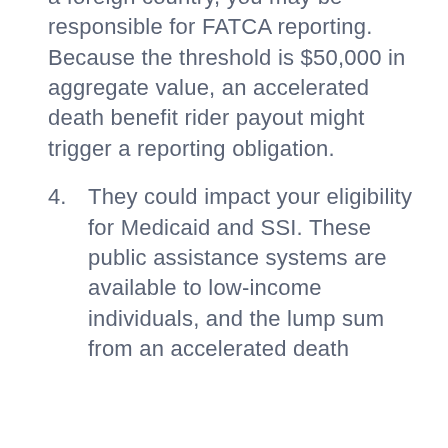a foreign country, you may be responsible for FATCA reporting. Because the threshold is $50,000 in aggregate value, an accelerated death benefit rider payout might trigger a reporting obligation.
4. They could impact your eligibility for Medicaid and SSI. These public assistance systems are available to low-income individuals, and the lump sum from an accelerated death